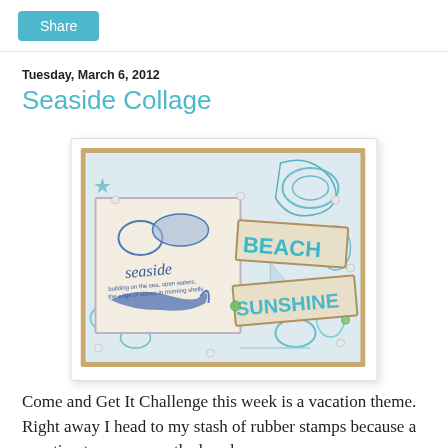Share
Tuesday, March 6, 2012
Seaside Collage
[Figure (photo): A handmade craft card with a seaside/beach theme. The card features blue and teal stamped images of seashells, starfish, a whale/fish, and ocean motifs on a light background. Overlaid paper elements include a square label stamped with 'seaside' text and sea creatures, and rectangular tags reading 'BEACH' and 'SUNSHINE' in bold teal letters. Pearl and gem embellishments are scattered across the card. The card sits on a wooden surface.]
Come and Get It Challenge this week is a vacation theme.  Right away I head to my stash of rubber stamps because a vacation to me means the beach.